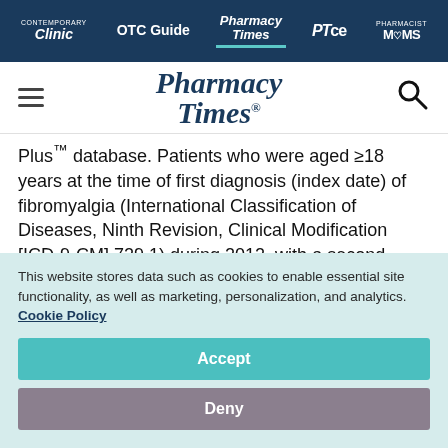Clinic | OTC Guide | Pharmacy Times | PTce | Pharmacist Moms
[Figure (logo): Pharmacy Times logo with hamburger menu and search icon]
Plus™ database. Patients who were aged ≥18 years at the time of first diagnosis (index date) of fibromyalgia (International Classification of Diseases, Ninth Revision, Clinical Modification [ICD-9-CM] 729.1) during 2012, with a second fibromyalgia diagnosis within 6 months of the index date
This website stores data such as cookies to enable essential site functionality, as well as marketing, personalization, and analytics. Cookie Policy
Accept
Deny